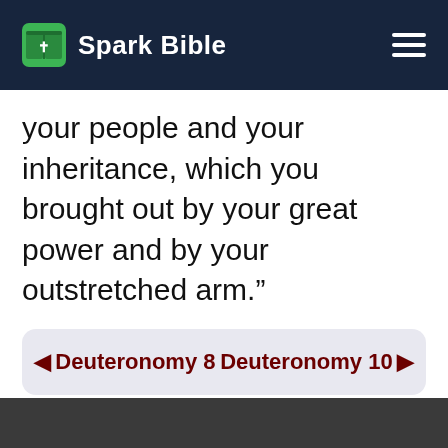Spark Bible
your people and your inheritance, which you brought out by your great power and by your outstretched arm.”
◄ Deuteronomy 8    Deuteronomy 10 ►
PUBLIC DOMAIN
Learn more at https://WorldEnglish.Bible.